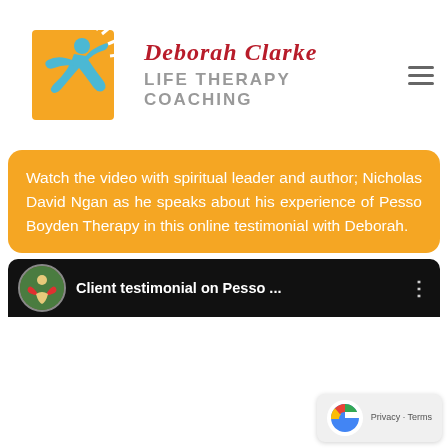[Figure (logo): Deborah Clarke Life Therapy Coaching logo: orange/yellow rectangle with blue silhouette figure jumping, stylized sun rays, next to brand name text in red cursive 'Deborah Clarke' and grey bold 'LIFE THERAPY COACHING', with hamburger menu icon]
Watch the video with spiritual leader and author; Nicholas David Ngan as he speaks about his experience of Pesso Boyden Therapy in this online testimonial with Deborah.
[Figure (screenshot): Video thumbnail bar showing a circular profile photo of a person outdoors with arms raised, title text 'Client testimonial on Pesso ...' in white on black background, with three-dot menu icon on right]
[Figure (logo): Google reCAPTCHA privacy badge in bottom right corner showing blue/grey reCAPTCHA logo with text 'Privacy - Terms']